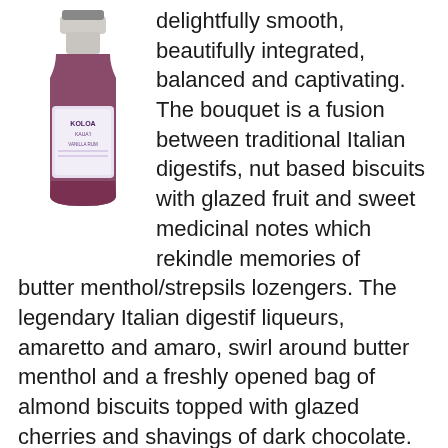[Figure (photo): Bottle of Koloa rum with purple label]
delightfully smooth, beautifully integrated, balanced and captivating. The bouquet is a fusion between traditional Italian digestifs, nut based biscuits with glazed fruit and sweet medicinal notes which rekindle memories of butter menthol/strepsils lozengers. The legendary Italian digestif liqueurs, amaretto and amaro, swirl around butter menthol and a freshly opened bag of almond biscuits topped with glazed cherries and shavings of dark chocolate. Mild undertones of creamy vanilla and brown sugar soaked in coffee support shimmers of honey and mint, as that menthol progressively intensifies as the rum rests. Taste: Soft and gentle on the entry, brown sugar and rich sweetened coffee gradually become more bitter as that amaro on the nose transfers to the palate and develops with soft wood vanilla which softens a sudden whip of those sweet medicinal notes from childhood (butter menthol, strepsils). Finish: